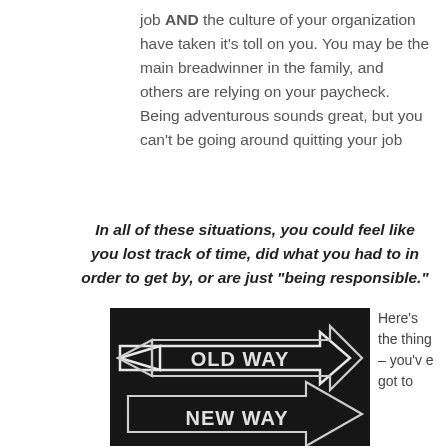job AND the culture of your organization have taken it's toll on you. You may be the main breadwinner in the family, and others are relying on your paycheck. Being adventurous sounds great, but you can't be going around quitting your job
In all of these situations, you could feel like you lost track of time, did what you had to in order to get by, or are just "being responsible."
[Figure (photo): Chalkboard with two chalk-drawn arrows: top arrow pointing left labeled 'OLD WAY', bottom arrow pointing right labeled 'NEW WAY']
Here's the thing – you've got to